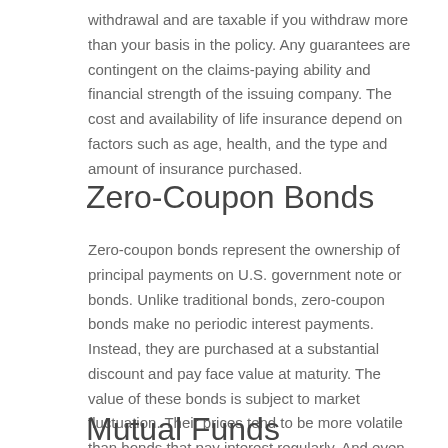withdrawal and are taxable if you withdraw more than your basis in the policy. Any guarantees are contingent on the claims-paying ability and financial strength of the issuing company. The cost and availability of life insurance depend on factors such as age, health, and the type and amount of insurance purchased.
Zero-Coupon Bonds
Zero-coupon bonds represent the ownership of principal payments on U.S. government note or bonds. Unlike traditional bonds, zero-coupon bonds make no periodic interest payments. Instead, they are purchased at a substantial discount and pay face value at maturity. The value of these bonds is subject to market fluctuation. Their prices tend to be more volatile than bonds that pay interest regularly. And even though no income is paid, the inherent interest is still taxable annually as ordinary income.
Mutual Funds